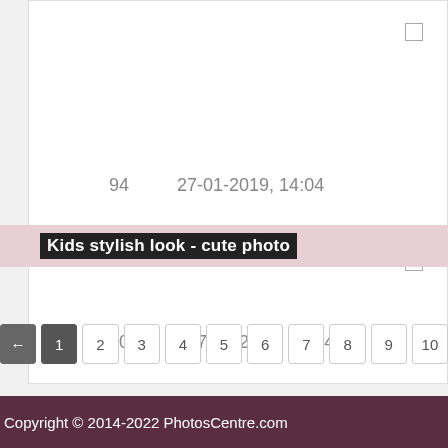94   27-01-2019, 14:04
Kids stylish look - cute photo
100   27-01-2019, 14:04
← 1 2 3 4 5 6 7 8 9 10
Copyright © 2014-2022 PhotosCentre.com